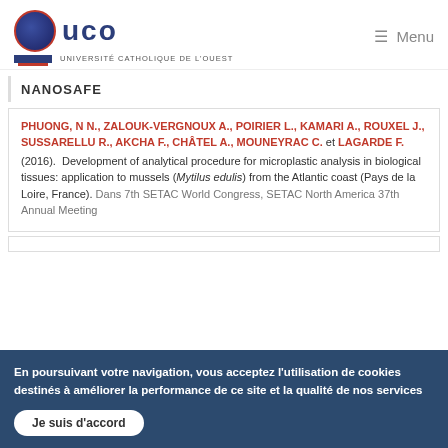[Figure (logo): UCO - Université Catholique de l'Ouest logo with blue circle and red accent, alongside menu icon]
NANOSAFE
PHUONG, N N., ZALOUK-VERGNOUX A., POIRIER L., KAMARI A., ROUXEL J., SUSSARELLU R., AKCHA F., CHÂTEL A., MOUNEYRAC C. et LAGARDE F. (2016). Development of analytical procedure for microplastic analysis in biological tissues: application to mussels (Mytilus edulis) from the Atlantic coast (Pays de la Loire, France). Dans 7th SETAC World Congress, SETAC North America 37th Annual Meeting
En poursuivant votre navigation, vous acceptez l'utilisation de cookies destinés à améliorer la performance de ce site et la qualité de nos services
Je suis d'accord